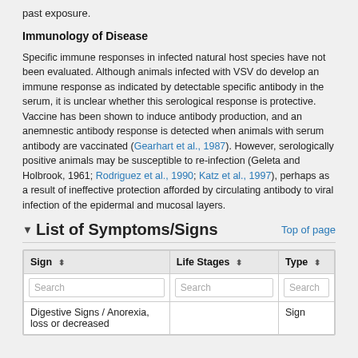past exposure.
Immunology of Disease
Specific immune responses in infected natural host species have not been evaluated. Although animals infected with VSV do develop an immune response as indicated by detectable specific antibody in the serum, it is unclear whether this serological response is protective. Vaccine has been shown to induce antibody production, and an anemnestic antibody response is detected when animals with serum antibody are vaccinated (Gearhart et al., 1987). However, serologically positive animals may be susceptible to re-infection (Geleta and Holbrook, 1961; Rodriguez et al., 1990; Katz et al., 1997), perhaps as a result of ineffective protection afforded by circulating antibody to viral infection of the epidermal and mucosal layers.
▼List of Symptoms/Signs
| Sign | Life Stages | Type |
| --- | --- | --- |
| Digestive Signs / Anorexia, loss or decreased |  | Sign |